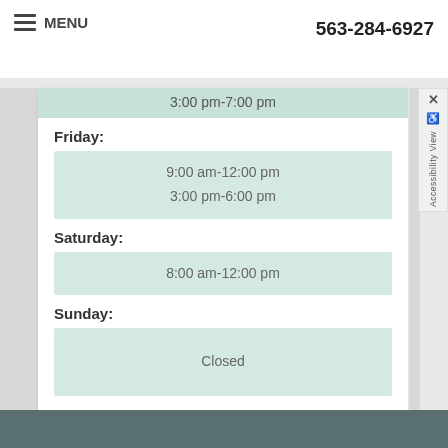≡ MENU    563-284-6927
| Day | Hours |
| --- | --- |
|  | 3:00 pm-7:00 pm |
| Friday: | 9:00 am-12:00 pm
3:00 pm-6:00 pm |
| Saturday: | 8:00 am-12:00 pm |
| Sunday: | Closed |